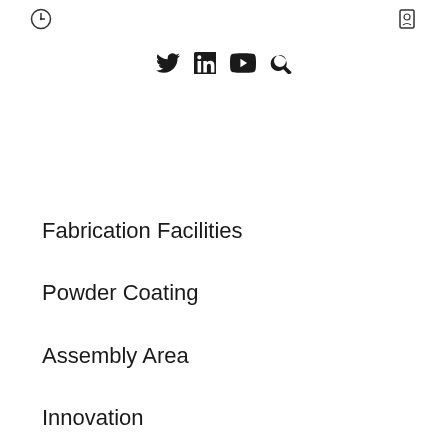[header icons: compass/timer icon left, settings/book icon right]
[Figure (infographic): Social media icons: Twitter, LinkedIn, YouTube, Search]
Fabrication Facilities
Powder Coating
Assembly Area
Innovation